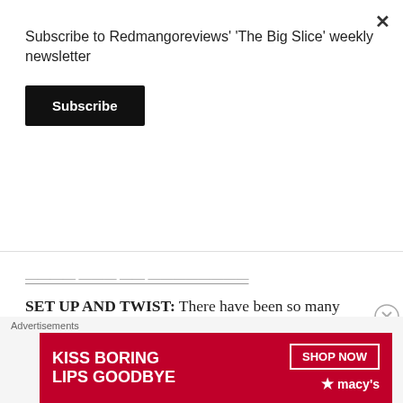Subscribe to Redmangoreviews' ‘The Big Slice’ weekly newsletter
Subscribe
SET UP AND TWIST: There have been so many remakes of this movie I’ve lost count but the version I’m looking at is the 1978 one starring the always debonair Donald Sutherland as our main protagonist Matthew, and Brooke Adams as his love interest Elizabeth.
It was a truly rare thing back then to have a movie end without the heroes saving the day so when Elizabeth, who is currently pretending to be a clone
Advertisements
[Figure (screenshot): Advertisement banner for Macy's with red background showing text 'KISS BORING LIPS GOODBYE' with a SHOP NOW button and Macy's logo with star]